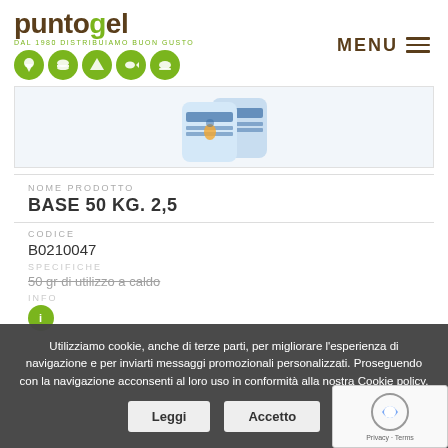[Figure (logo): Puntogel logo with green and brown text, tagline 'DAL 1980 DISTRIBUIAMO BUON GUSTO', and five circular food category icons in green]
[Figure (photo): Two product packages of BASE 50 KG 2,5 shown on white/light blue background]
NOME PRODOTTO
BASE 50 KG. 2,5
CODICE
B0210047
SPECIFICHE
50 gr di utilizzo a caldo
INFO
Utilizziamo cookie, anche di terze parti, per migliorare l'esperienza di navigazione e per inviarti messaggi promozionali personalizzati. Proseguendo con la navigazione acconsenti al loro uso in conformità alla nostra Cookie policy.
Leggi
Accetto